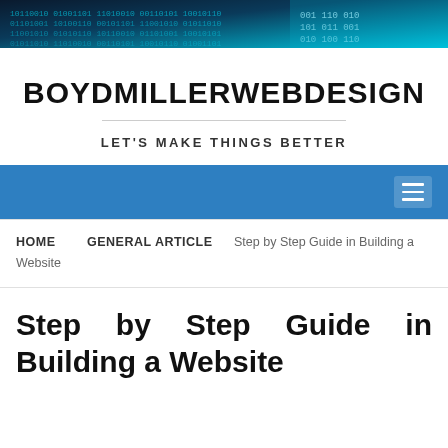[Figure (photo): Digital technology background image with blue binary code / circuit pattern]
BOYDMILLERWEBDESIGN
LET'S MAKE THINGS BETTER
Navigation bar with hamburger menu icon
HOME   GENERAL ARTICLE   Step by Step Guide in Building a Website
Step by Step Guide in Building a Website